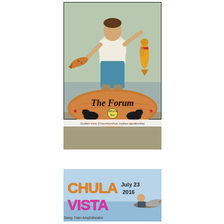[Figure (illustration): Illustrated poster for 'The Forum' featuring a person holding two fish (a brown trout in left hand and a golden trout in right hand) with a river background. The bottom has a wooden oval sign reading 'The Forum' with two black bear silhouettes flanking a California state logo, red stars on each side. Caption reads 'Golden trout (Oncorhynchus mykiss aguabonita)'.]
[Figure (illustration): Event poster for 'Chula Vista' dated July 23 2016. 'CHULA' text in orange/gold, 'VISTA' text in pink/magenta, with a light blue background. An illustrated person in a boat with a large fish (shark or swordfish). Bottom text reads 'Sleep Train Amphitheatre'.]